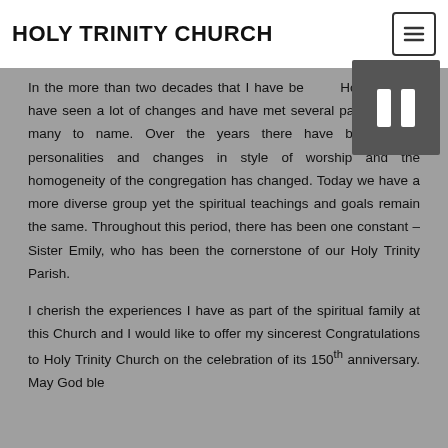HOLY TRINITY CHURCH
In the more than two decades that I have been at Holy Trinity, I have seen a lot of changes and have met several pastors – too many to name. Over the years there have been many personalities and changes in style of worship and the homogeneity of the congregation has changed. Today we have a more diverse group yet the spiritual teachings and goals remain the same. Throughout this period, there has been one constant – Sister Emily, who has been the cornerstone of our Holy Trinity Parish.
I cherish the experiences I have as part of the spiritual family at this Church and I would like to offer my sincerest Congratulations to Holy Trinity Church on the celebration of its 150th anniversary. May God bless